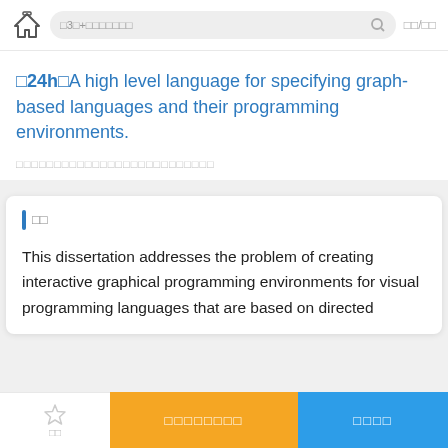□3□+□□□□□□□ □□/□□
□24h□A high level language for specifying graph-based languages and their programming environments.
□□□□□□□□□□□□□□□□□□□□□□□□□□
□□
This dissertation addresses the problem of creating interactive graphical programming environments for visual programming languages that are based on directed
□□ □□□□□□□□ □□□□